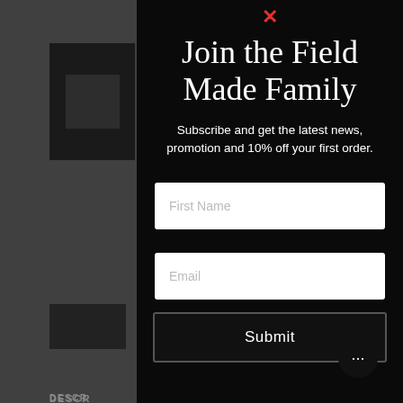[Figure (screenshot): Background of a product page showing dark product images, description section, and features list, dimmed behind a modal overlay]
Join the Field Made Family
Subscribe and get the latest news, promotion and 10% off your first order.
First Name
Email
Submit